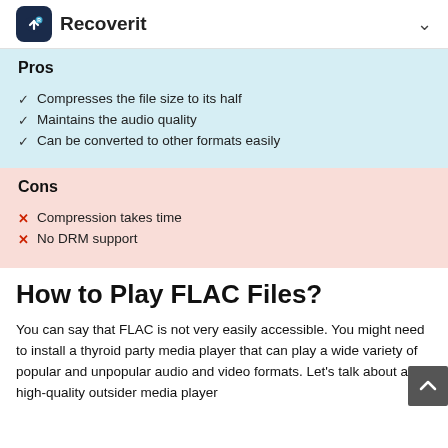Recoverit
Pros
Compresses the file size to its half
Maintains the audio quality
Can be converted to other formats easily
Cons
Compression takes time
No DRM support
How to Play FLAC Files?
You can say that FLAC is not very easily accessible. You might need to install a thyroid party media player that can play a wide variety of popular and unpopular audio and video formats. Let's talk about a high-quality outsider media player